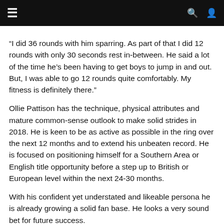“I did 36 rounds with him sparring. As part of that I did 12 rounds with only 30 seconds rest in-between. He said a lot of the time he’s been having to get boys to jump in and out. But, I was able to go 12 rounds quite comfortably. My fitness is definitely there.”
Ollie Pattison has the technique, physical attributes and mature common-sense outlook to make solid strides in 2018. He is keen to be as active as possible in the ring over the next 12 months and to extend his unbeaten record. He is focused on positioning himself for a Southern Area or English title opportunity before a step up to British or European level within the next 24-30 months.
With his confident yet understated and likeable persona he is already growing a solid fan base. He looks a very sound bet for future success.